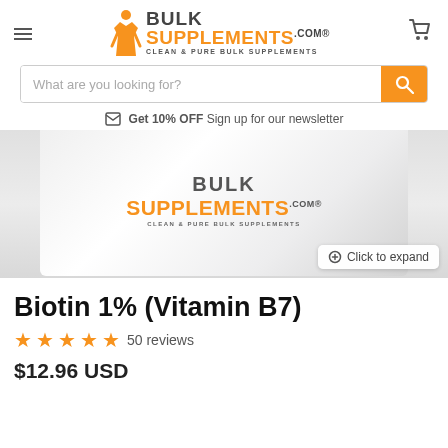BulkSupplements.com - Clean & Pure Bulk Supplements
[Figure (screenshot): Search bar with placeholder text 'What are you looking for?' and orange search button]
Get 10% OFF Sign up for our newsletter
[Figure (photo): Product container with BulkSupplements.com logo and Click to expand button]
Biotin 1% (Vitamin B7)
50 reviews
$12.96 USD